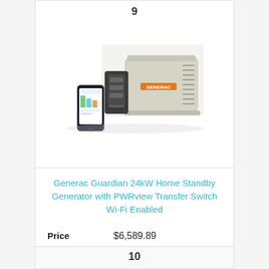9
[Figure (photo): Generac Guardian standby generator unit (cream/beige colored enclosure with orange Generac logo), paired with a transfer switch panel and a smartphone showing the PWRview app.]
Generac Guardian 24kW Home Standby Generator with PWRview Transfer Switch Wi-Fi Enabled
| Price |  |
| --- | --- |
| Price | $6,589.89 |
View Product
10